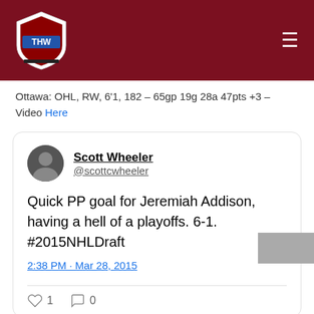THW - The Hockey Writers
Ottawa: OHL, RW, 6'1, 182 - 65gp 19g 28a 47pts +3 - Video Here
[Figure (screenshot): Embedded tweet from Scott Wheeler (@scottcwheeler): 'Quick PP goal for Jeremiah Addison, having a hell of a playoffs. 6-1. #2015NHLDraft' posted at 2:38 PM · Mar 28, 2015. 1 like, 0 comments.]
Round 5 – Answers
[Figure (other): Advertisement banner: Fighting Diabetes? This... n/a with a blue arrow button]